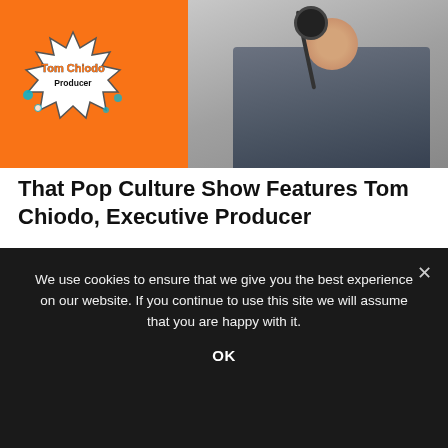[Figure (photo): Thumbnail image for That Pop Culture Show featuring Tom Chiodo. Man in a blazer sits at a desk with a microphone in front of an orange background. A comic-book-style burst graphic in the lower left reads 'Tom Chiodo Producer'.]
That Pop Culture Show Features Tom Chiodo, Executive Producer
Join hosts Kody Frederick and Jason DeBord this week as they have a chat with Tom Chiodo, Executive Producer – Special Projects, National Program Development.
We use cookies to ensure that we give you the best experience on our website. If you continue to use this site we will assume that you are happy with it.
OK